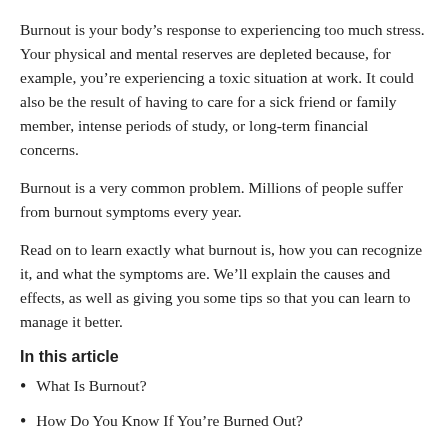Burnout is your body’s response to experiencing too much stress. Your physical and mental reserves are depleted because, for example, you’re experiencing a toxic situation at work. It could also be the result of having to care for a sick friend or family member, intense periods of study, or long-term financial concerns.
Burnout is a very common problem. Millions of people suffer from burnout symptoms every year.
Read on to learn exactly what burnout is, how you can recognize it, and what the symptoms are. We’ll explain the causes and effects, as well as giving you some tips so that you can learn to manage it better.
In this article
What Is Burnout?
How Do You Know If You’re Burned Out?